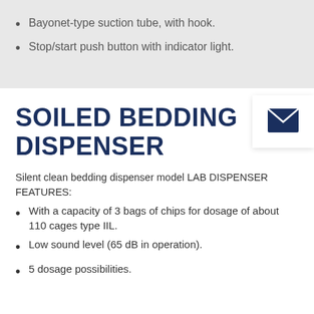Bayonet-type suction tube, with hook.
Stop/start push button with indicator light.
SOILED BEDDING DISPENSER
Silent clean bedding dispenser model LAB DISPENSER FEATURES:
With a capacity of 3 bags of chips for dosage of about 110 cages type IIL.
Low sound level (65 dB in operation).
5 dosage possibilities.